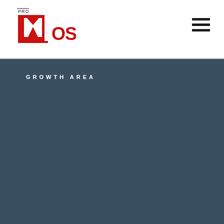[Figure (logo): ProMoscow logo with red M and text]
GROWTH AREA